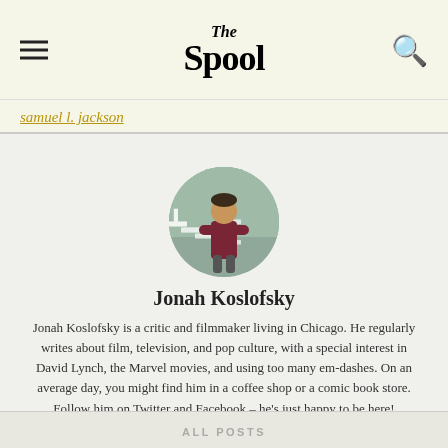The Spool
samuel l. jackson
[Figure (photo): Circular avatar photo of Jonah Koslofsky standing in front of a wall that says FILM, arms crossed, wearing a dark red shirt.]
Jonah Koslofsky
Jonah Koslofsky is a critic and filmmaker living in Chicago. He regularly writes about film, television, and pop culture, with a special interest in David Lynch, the Marvel movies, and using too many em-dashes. On an average day, you might find him in a coffee shop or a comic book store. Follow him on Twitter and Facebook – he's just happy to be here!
ALL POSTS